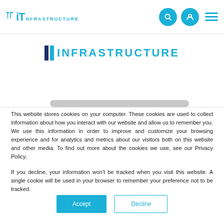IT INFRASTRUCTURE
[Figure (logo): IT Infrastructure logo with blue IT text and INFRASTRUCTURE in blue letters, with two blue bars]
This website stores cookies on your computer. These cookies are used to collect information about how you interact with our website and allow us to remember you. We use this information in order to improve and customize your browsing experience and for analytics and metrics about our visitors both on this website and other media. To find out more about the cookies we use, see our Privacy Policy.
If you decline, your information won't be tracked when you visit this website. A single cookie will be used in your browser to remember your preference not to be tracked.